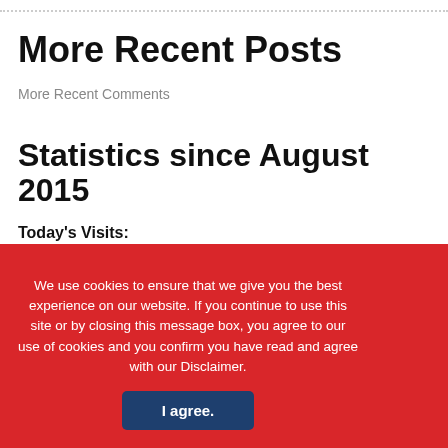More Recent Posts
More Recent Comments
Statistics since August 2015
Today's Visits:
900
Today's Visitors:
We use cookies to ensure that we give you the best experience on our website. If you continue to use this site or by closing this message box, you agree to our use of cookies and you confirm you have read and agree with our Disclaimer.
I agree.